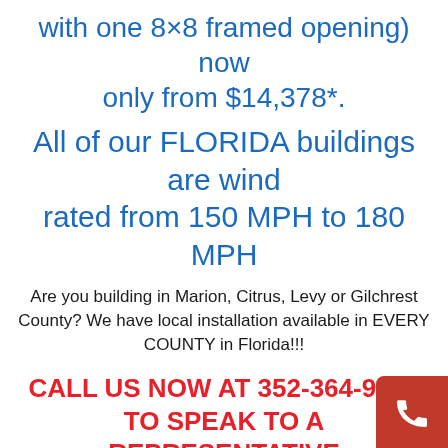with one 8×8 framed opening) now only from $14,378*.
All of our FLORIDA buildings are wind rated from 150 MPH to 180 MPH
Are you building in Marion, Citrus, Levy or Gilchrest County? We have local installation available in EVERY COUNTY in Florida!!!
CALL US NOW AT 352-364-9477 TO SPEAK TO A REPRESENTATIVE
100% CUSTOMER